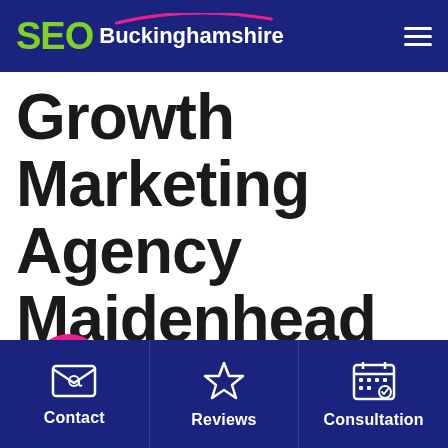SEO Buckinghamshire
Growth Marketing Agency Maidenhead
[Figure (logo): Pink circle WhatsApp phone icon]
Contact
Reviews
Consultation